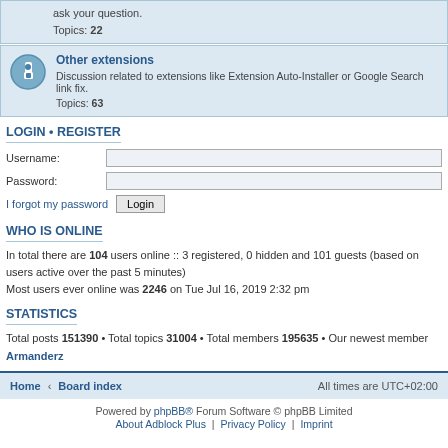ask your question. Topics: 22
Other extensions
Discussion related to extensions like Extension Auto-Installer or Google Search link fix. Topics: 63
LOGIN • REGISTER
Username:
Password:
I forgot my password Login
WHO IS ONLINE
In total there are 104 users online :: 3 registered, 0 hidden and 101 guests (based on users active over the past 5 minutes)
Most users ever online was 2246 on Tue Jul 16, 2019 2:32 pm
STATISTICS
Total posts 151390 • Total topics 31004 • Total members 195635 • Our newest member Armanderz
Home Board index   All times are UTC+02:00
Powered by phpBB® Forum Software © phpBB Limited
About Adblock Plus | Privacy Policy | Imprint